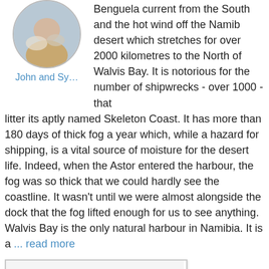[Figure (photo): Circular avatar photo of John and Sy sitting at a table]
John and Sy…
Benguela current from the South and the hot wind off the Namib desert which stretches for over 2000 kilometres to the North of Walvis Bay. It is notorious for the number of shipwrecks - over 1000 - that litter its aptly named Skeleton Coast. It has more than 180 days of thick fog a year which, while a hazard for shipping, is a vital source of moisture for the desert life. Indeed, when the Astor entered the harbour, the fog was so thick that we could hardly see the coastline. It wasn't until we were almost alongside the dock that the fog lifted enough for us to see anything. Walvis Bay is the only natural harbour in Namibia. It is a ... read more
[Figure (photo): Large thumbnail image placeholder (white box with grey border)]
[Figure (photo): Small thumbnail image placeholder (white box with grey border) top right]
[Figure (photo): Small thumbnail image placeholder (white box with grey border) bottom right]